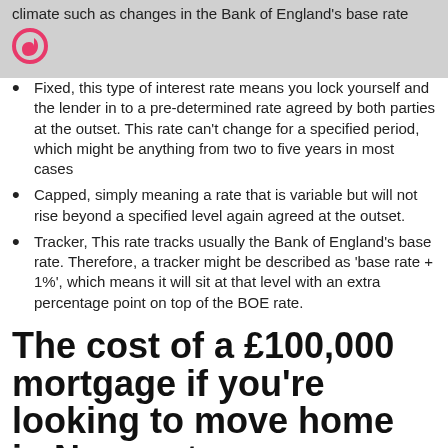climate such as changes in the Bank of England's base rate
[Figure (logo): Pink/red circular logo icon resembling the letter d]
Fixed, this type of interest rate means you lock yourself and the lender in to a pre-determined rate agreed by both parties at the outset. This rate can't change for a specified period, which might be anything from two to five years in most cases
Capped, simply meaning a rate that is variable but will not rise beyond a specified level again agreed at the outset.
Tracker, This rate tracks usually the Bank of England's base rate. Therefore, a tracker might be described as 'base rate + 1%', which means it will sit at that level with an extra percentage point on top of the BOE rate.
The cost of a £100,000 mortgage if you're looking to move home in Newport
Buying a home in Newport would most certainly be considered